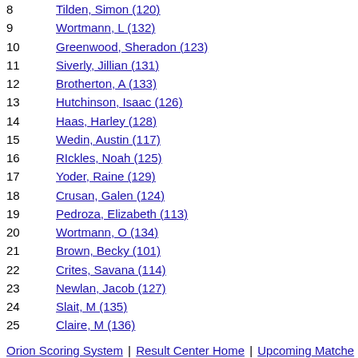8    Tilden, Simon (120)
9    Wortmann, L (132)
10   Greenwood, Sheradon (123)
11   Siverly, Jillian (131)
12   Brotherton, A (133)
13   Hutchinson, Isaac (126)
14   Haas, Harley (128)
15   Wedin, Austin (117)
16   RIckles, Noah (125)
17   Yoder, Raine (129)
18   Crusan, Galen (124)
19   Pedroza, Elizabeth (113)
20   Wortmann, O (134)
21   Brown, Becky (101)
22   Crites, Savana (114)
23   Newlan, Jacob (127)
24   Slait, M (135)
25   Claire, M (136)
Orion Scoring System | Result Center Home | Upcoming Matches